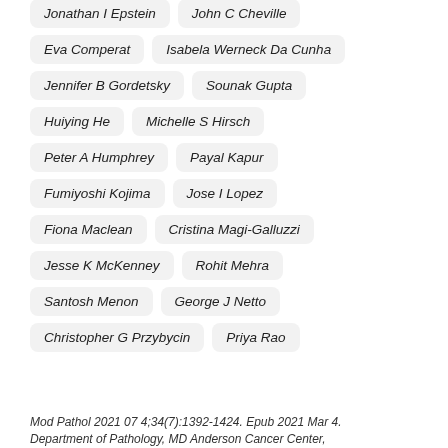Jonathan I Epstein
John C Cheville
Eva Comperat
Isabela Werneck Da Cunha
Jennifer B Gordetsky
Sounak Gupta
Huiying He
Michelle S Hirsch
Peter A Humphrey
Payal Kapur
Fumiyoshi Kojima
Jose I Lopez
Fiona Maclean
Cristina Magi-Galluzzi
Jesse K McKenney
Rohit Mehra
Santosh Menon
George J Netto
Christopher G Przybycin
Priya Rao
Mod Pathol 2021 07 4;34(7):1392-1424. Epub 2021 Mar 4. Department of Pathology, MD Anderson Cancer Center,